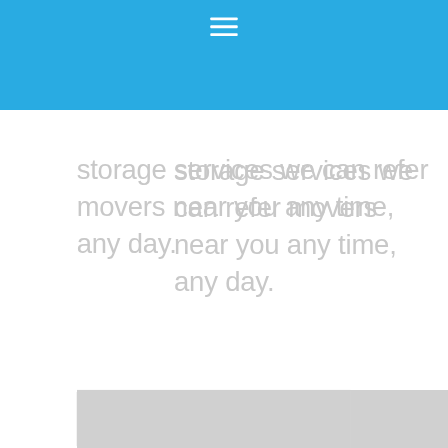[Figure (screenshot): Blue navigation bar at top of webpage with hamburger menu icon]
storage services we can refer movers near you any time, any day.
[Figure (infographic): Gray box showing statistic: 123 DRIVERS]